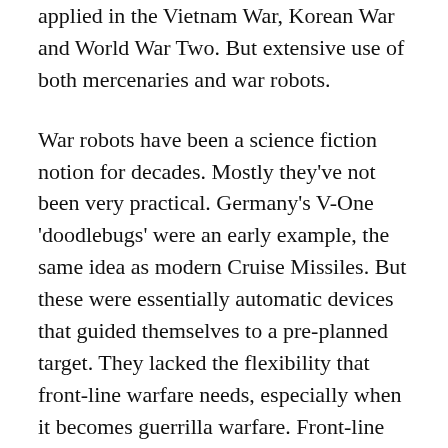applied in the Vietnam War, Korean War and World War Two. But extensive use of both mercenaries and war robots.
War robots have been a science fiction notion for decades. Mostly they've not been very practical. Germany's V-One 'doodlebugs' were an early example, the same idea as modern Cruise Missiles. But these were essentially automatic devices that guided themselves to a pre-planned target. They lacked the flexibility that front-line warfare needs, especially when it becomes guerrilla warfare. Front-line robots have been developed over the past few years, as an article in the magazine Scientific American explains: